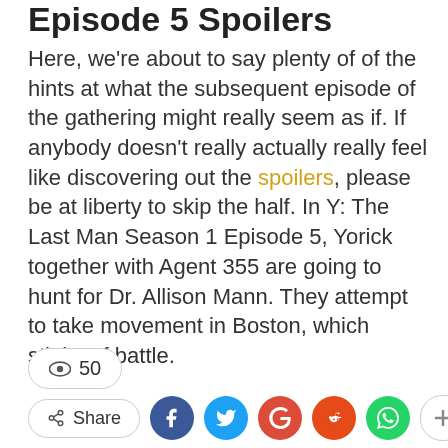Episode 5 Spoilers
Here, we're about to say plenty of of the hints at what the subsequent episode of the gathering might really seem as if. If anybody doesn't really actually really feel like discovering out the spoilers, please be at liberty to skip the half. In Y: The Last Man Season 1 Episode 5, Yorick together with Agent 355 are going to hunt for Dr. Allison Mann. They attempt to take movement in Boston, which stinks of battle.
👁 50
Share (social buttons: Facebook, Twitter, Google+, Reddit, WhatsApp, Plus, Up)